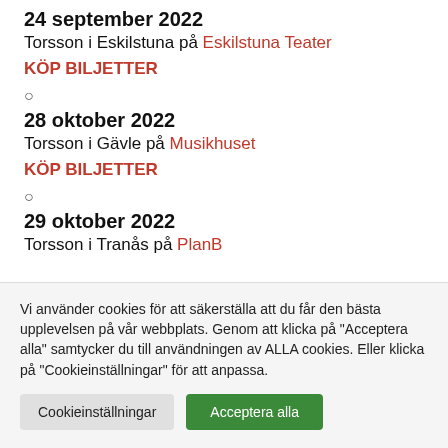24 september 2022
Torsson i Eskilstuna på Eskilstuna Teater
KÖP BILJETTER
○
28 oktober 2022
Torsson i Gävle på Musikhuset
KÖP BILJETTER
○
29 oktober 2022
Torsson i Tranås på PlanB
Vi använder cookies för att säkerställa att du får den bästa upplevelsen på vår webbplats. Genom att klicka på "Acceptera alla" samtycker du till användningen av ALLA cookies. Eller klicka på "Cookieinställningar" för att anpassa.